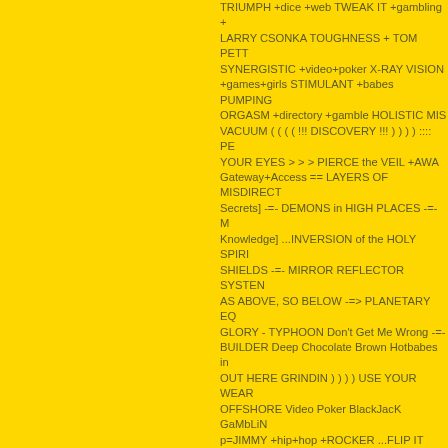TRIUMPH +dice +web TWEAK IT +gambling + LARRY CSONKA TOUGHNESS + TOM PETT SYNERGISTIC +video+poker X-RAY VISION +games+girls STIMULANT +babes PUMPING ORGASM +directory +gamble HOLISTIC MIS VACUUM ( ( ( ( !!! DISCOVERY !!! ) ) ) ) :::: PE YOUR EYES > > > PIERCE the VEIL +AWA Gateway+Access == LAYERS OF MISDIRECT Secrets] -=- DEMONS in HIGH PLACES -=- M Knowledge] ...INVERSION of the HOLY SPIRI SHIELDS -=- MIRROR REFLECTOR SYSTEN AS ABOVE, SO BELOW -=> PLANETARY EQ GLORY - TYPHOON Don't Get Me Wrong -=- BUILDER Deep Chocolate Brown Hotbabes in OUT HERE GRINDIN ) ) ) ) USE YOUR WEAR OFFSHORE Video Poker BlackJacK GaMbLiN p=JIMMY +hip+hop +ROCKER ...FLIP IT +hot MYSTERY +gambling +ENTERTAINMENT +b +dice+BABES+bikini +poker +ei= UTF- ( ( ( ( RESEARCH 8+n=20 MAGIC COIL format CAR TWERKING t+dups=1 Subterranean MATRIX vegas lasvegas craps link exchange hotbabes Green Grass and High Tides Sports Bar and G JUMP SCARE -=- FLASH BANG \\ ASSASIN POWER AND THE GLORY -=- MIAMI NORLA betting dice CHAIN OF COMMAND web URL <FOCUS> Photographer GRAVEL PIT -=- US onlinE Sports BEYOND THE OUTER PERIME TRICKERY (((Carma))) LAKE OF FIRE South hotbabes dating rocker <CONCEPTUAL FRID